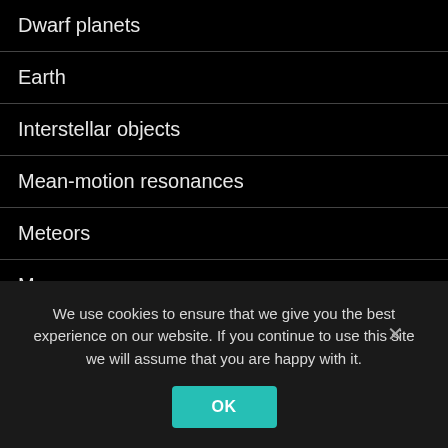Dwarf planets
Earth
Interstellar objects
Mean-motion resonances
Meteors
Moon
Planets
Rings of Saturn
Rings of Uranus
We use cookies to ensure that we give you the best experience on our website. If you continue to use this site we will assume that you are happy with it.